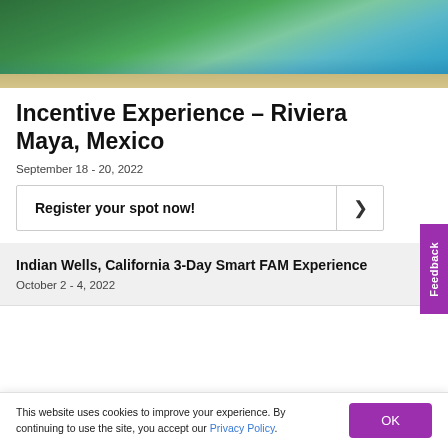[Figure (photo): Aerial photo of a tropical beach resort with lush green trees, sandy beach, and turquoise ocean water.]
Incentive Experience – Riviera Maya, Mexico
September 18 - 20, 2022
Register your spot now!
Indian Wells, California 3-Day Smart FAM Experience
October 2 - 4, 2022
This website uses cookies to improve your experience. By continuing to use the site, you accept our Privacy Policy.